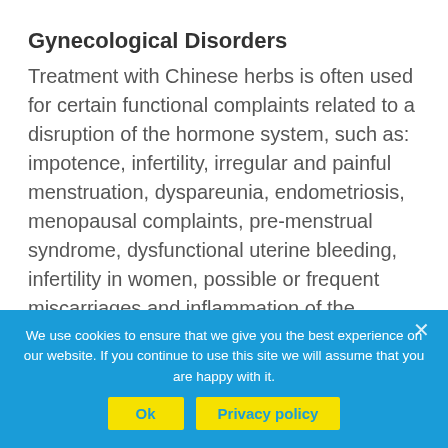Gynecological Disorders
Treatment with Chinese herbs is often used for certain functional complaints related to a disruption of the hormone system, such as: impotence, infertility, irregular and painful menstruation, dyspareunia, endometriosis, menopausal complaints, pre-menstrual syndrome, dysfunctional uterine bleeding, infertility in women, possible or frequent miscarriages and inflammation of the reproductive organs. Since
We use cookies to ensure that we give you the best experience on our website. If you continue to use this site we will assume that you are happy with it.